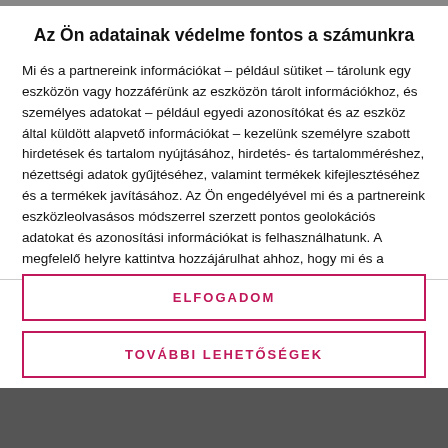Az Ön adatainak védelme fontos a számunkra
Mi és a partnereink információkat – például sütiket – tárolunk egy eszközön vagy hozzáférünk az eszközön tárolt információkhoz, és személyes adatokat – például egyedi azonosítókat és az eszköz által küldött alapvető információkat – kezelünk személyre szabott hirdetések és tartalom nyújtásához, hirdetés- és tartalomméréshez, nézettségi adatok gyűjtéséhez, valamint termékek kifejlesztéséhez és a termékek javításához. Az Ön engedélyével mi és a partnereink eszközleolvasásos módszerrel szerzett pontos geolokációs adatokat és azonosítási információkat is felhasználhatunk. A megfelelő helyre kattintva hozzájárulhat ahhoz, hogy mi és a partnereink a fent leírtak
ELFOGADOM
TOVÁBBI LEHETŐSÉGEK